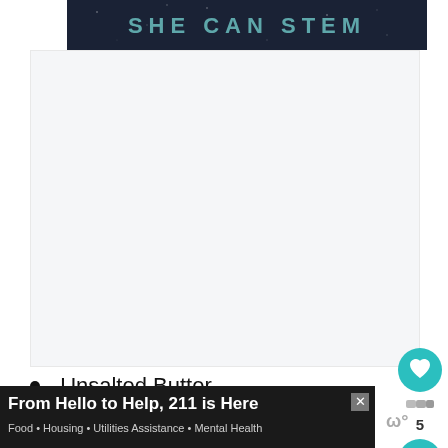[Figure (logo): She Can STEM banner logo — dark navy background with 'SHE CAN STEM' text in teal/gray letters]
[Figure (other): Large white/light gray blank content area below banner]
Unsalted Butter
Granulated Sugar
[Figure (other): Heart favorite button (teal circle with heart icon) and share button (teal circle with share icon), with count '5' between them]
From Hello to Help, 211 is Here
Food • Housing • Utilities Assistance • Mental Health